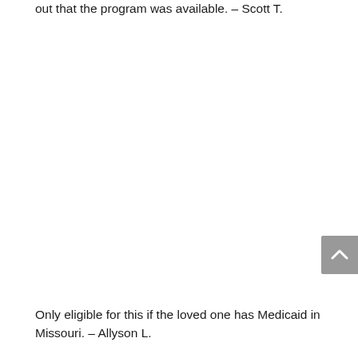out that the program was available. – Scott T.
Only eligible for this if the loved one has Medicaid in Missouri. – Allyson L.